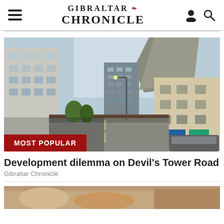GIBRALTAR CHRONICLE
[Figure (photo): Street view photograph of Devil's Tower Road in Gibraltar showing multi-storey buildings on both sides, a tall modern tower block in the background, the Rock of Gibraltar visible, and construction fencing along the road. A red 'MOST POPULAR' badge overlays the bottom-left corner of the image.]
Development dilemma on Devil's Tower Road
Gibraltar Chronicle
[Figure (photo): Partial view of a second article image at the bottom of the page, partially cropped.]